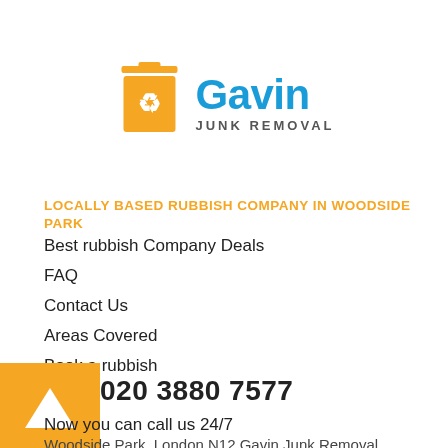[Figure (logo): Gavin Junk Removal logo with orange trash bin icon containing recycling symbol and blue Gavin text with JUNK REMOVAL subtitle]
LOCALLY BASED RUBBISH COMPANY IN WOODSIDE PARK
Best rubbish Company Deals
FAQ
Contact Us
Areas Covered
Book a rubbish
[Figure (logo): Orange square with white upward arrow triangle icon]
020 3880 7577
Now you can call us 24/7
Woodside Park, London N12 Gavin Junk Removal